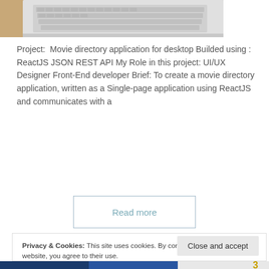[Figure (photo): Partial view of a laptop keyboard from above, showing the top portion of the keyboard on a wooden desk surface.]
Project:  Movie directory application for desktop Builded using : ReactJS JSON REST API My Role in this project: UI/UX Designer Front-End developer Brief: To create a movie directory application, written as a Single-page application using ReactJS and communicates with a
Read more
Privacy & Cookies: This site uses cookies. By continuing to use this website, you agree to their use.
To find out more, including how to control cookies, see here: Cookie Policy
Close and accept